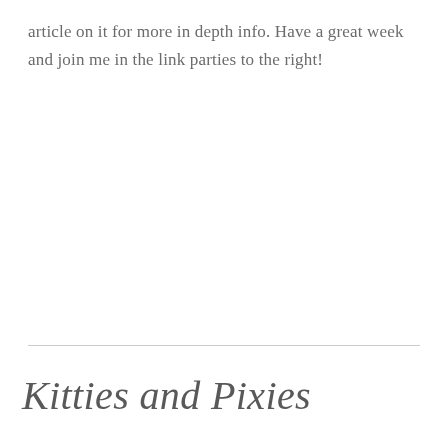article on it for more in depth info. Have a great week and join me in the link parties to the right!
Kitties and Pixies